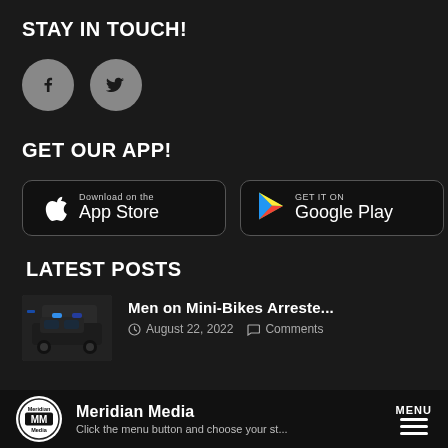STAY IN TOUCH!
[Figure (illustration): Facebook and Twitter social media icon circles]
GET OUR APP!
[Figure (illustration): App Store download button and Google Play Get It On button]
LATEST POSTS
[Figure (photo): Thumbnail photo of police car with blue lights]
Men on Mini-Bikes Arreste...
August 22, 2022  Comments
Meridian Media  Click the menu button and choose your st...  MENU